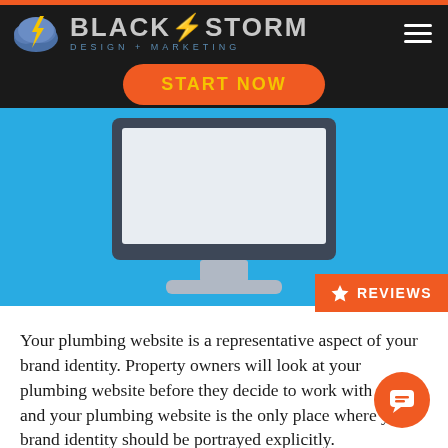[Figure (screenshot): BlackStorm Design + Marketing website screenshot with black navigation bar, logo, START NOW orange button, blue hero section with computer monitor illustration, orange REVIEWS tab, and body text about plumbing websites]
Your plumbing website is a representative aspect of your brand identity. Property owners will look at your plumbing website before they decide to work with you, and your plumbing website is the only place where your brand identity should be portrayed explicitly.
Your plumbing website is essential because it offers